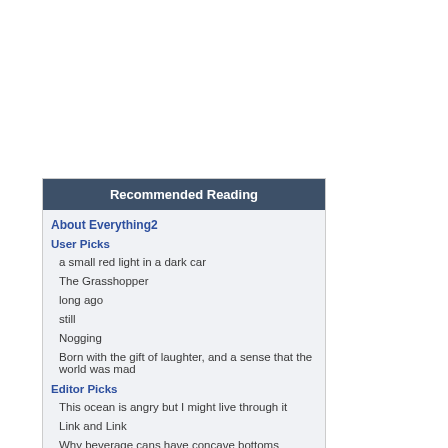Recommended Reading
About Everything2
User Picks
a small red light in a dark car
The Grasshopper
long ago
still
Nogging
Born with the gift of laughter, and a sense that the world was mad
Editor Picks
This ocean is angry but I might live through it
Link and Link
Why beverage cans have concave bottoms